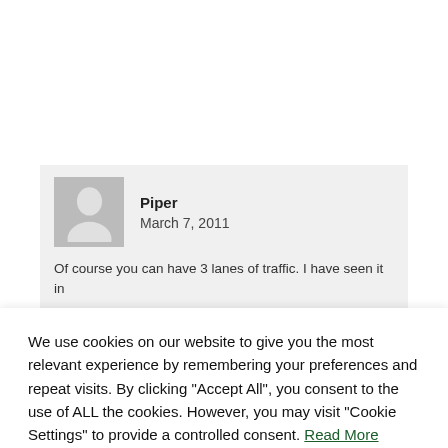Piper
March 7, 2011
Of course you can have 3 lanes of traffic. I have seen it in
We use cookies on our website to give you the most relevant experience by remembering your preferences and repeat visits. By clicking "Accept All", you consent to the use of ALL the cookies. However, you may visit "Cookie Settings" to provide a controlled consent. Read More